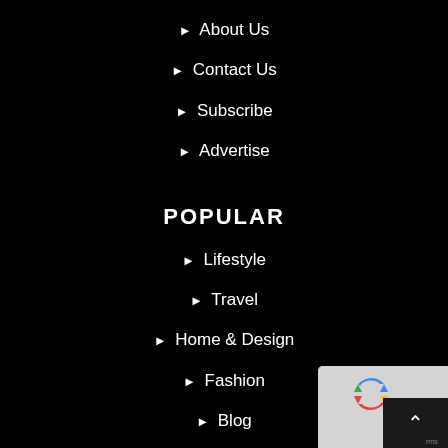► About Us
► Contact Us
► Subscribe
► Advertise
POPULAR
► Lifestyle
► Travel
► Home & Design
► Fashion
► Blog
[Figure (screenshot): reCAPTCHA widget and back-to-top button overlay in bottom right corner]